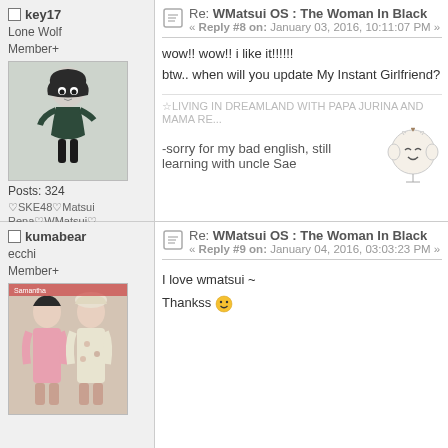key17
Lone Wolf
Member+
[Figure (illustration): Anime chibi character with dark hair holding arrows, dressed in dark outfit]
Posts: 324
♡SKE48♡Matsui Rena♡WMatsui♡
Re: WMatsui OS : The Woman In Black
« Reply #8 on: January 03, 2016, 10:11:07 PM »
wow!! wow!! i like it!!!!!!
btw.. when will you update My Instant Girlfriend?
☆LIVING IN DREAMLAND WITH PAPA JURINA AND MAMA RE...
[Figure (illustration): Small cute anime face emoji/emoticon with smiling expression]
-sorry for my bad english, still learning with uncle Sae
kumabear
ecchi
Member+
[Figure (photo): Photo of two women at an event, one in pink dress, one in floral outfit]
Re: WMatsui OS : The Woman In Black
« Reply #9 on: January 04, 2016, 03:03:23 PM »
I love wmatsui ~
Thankss 🙂